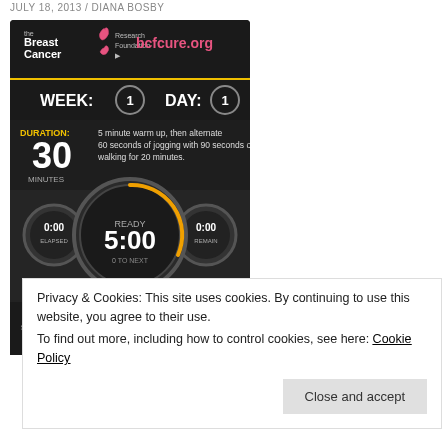JULY 18, 2013 / DIANA BOSBY
[Figure (screenshot): Mobile app screenshot showing Breast Cancer Research Foundation workout app (bcfcure.org). Displays Week 1, Day 1. Duration: 30 minutes. Instructions: 5 minute warm up, then alternate 60 seconds of jogging with 90 seconds of walking for 20 minutes. Timer shows READY 5:00, 0:00 ELAPSED, 0:00 REMAIN. START button visible. Bottom shows SLIDE TO ADVANCE with WEEK 1 DAY 1 (checkmark), WEEK 1 DAY 2, WEEK 10 DAY 1 (locked).]
Privacy & Cookies: This site uses cookies. By continuing to use this website, you agree to their use.
To find out more, including how to control cookies, see here: Cookie Policy
Close and accept